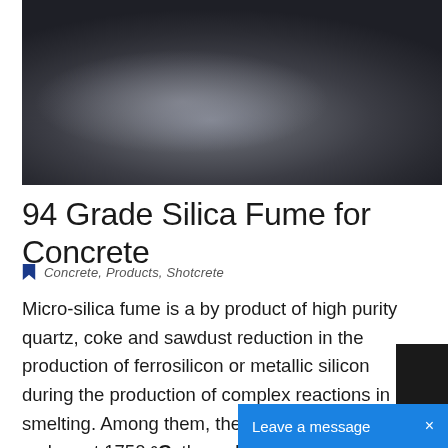[Figure (photo): Close-up photo of dark gray micro-silica fume powder, showing a mound of fine dark metallic-gray granules against a light background]
94 Grade Silica Fume for Concrete
Concrete, Products, Shotcrete
Micro-silica fume is a by product of high purity quartz, coke and sawdust reduction in the production of ferrosilicon or metallic silicon during the production of complex reactions in smelting. Among them, the quartz stone and carbon at 1750 °C, the reduction reaction to produce unstable carbon monoxide, the temperature higher than 2160 °C, SiO gas co
Leave a message